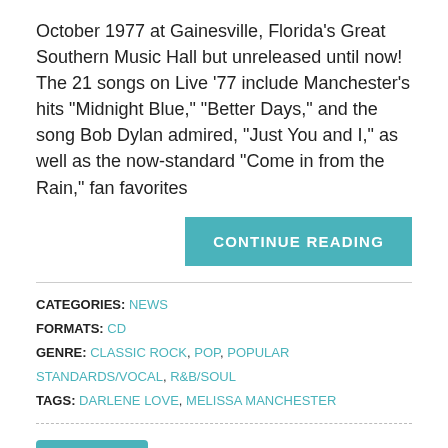October 1977 at Gainesville, Florida's Great Southern Music Hall but unreleased until now! The 21 songs on Live '77 include Manchester's hits "Midnight Blue," "Better Days," and the song Bob Dylan admired, "Just You and I," as well as the now-standard "Come in from the Rain," fan favorites
CONTINUE READING
CATEGORIES: NEWS
FORMATS: CD
GENRE: CLASSIC ROCK, POP, POPULAR STANDARDS/VOCAL, R&B/SOUL
TAGS: DARLENE LOVE, MELISSA MANCHESTER
Tweet